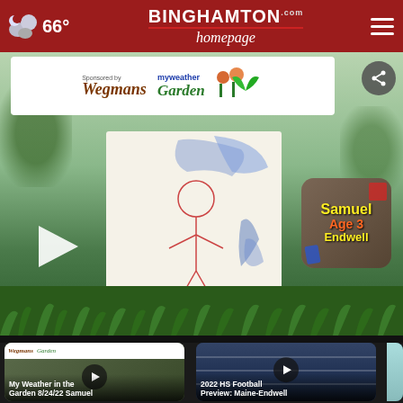66° Binghamtonhomepage.com
[Figure (screenshot): Sponsored by Wegmans myweather Garden banner advertisement]
[Figure (photo): Main video player showing child's drawing of a figure (Samuel Age 3 Endwell) with play button, garden background, number badge 34]
[Figure (screenshot): Thumbnail: My Weather in the Garden 8/24/22 Samuel, 21 mins ago]
[Figure (screenshot): Thumbnail: 2022 HS Football Preview: Maine-Endwell, 57 mins ago]
[Figure (screenshot): Thumbnail: Binghamton (partially visible)]